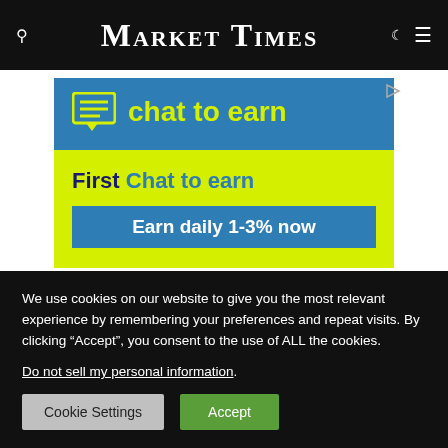Market Times
[Figure (illustration): Advertisement banner for 'chat to earn' service showing chat icon, yellow-green and blue colors, text: 'chat to earn', 'First Chat to earn', 'Earn daily 1-3% now']
We use cookies on our website to give you the most relevant experience by remembering your preferences and repeat visits. By clicking “Accept”, you consent to the use of ALL the cookies.
Do not sell my personal information.
Cookie Settings   Accept